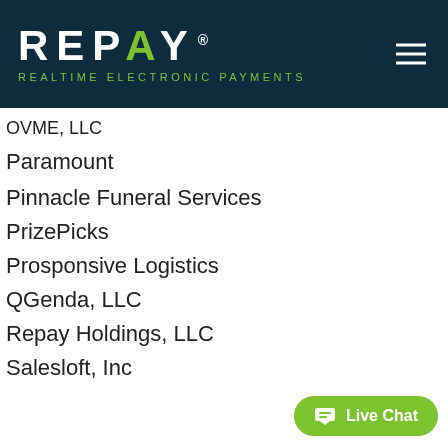REPAY Realtime Electronic Payments
OVME, LLC
Paramount
Pinnacle Funeral Services
PrizePicks
Prosponsive Logistics
QGenda, LLC
Repay Holdings, LLC
Salesloft, Inc
[Figure (other): Live Chat button widget with chat icon]